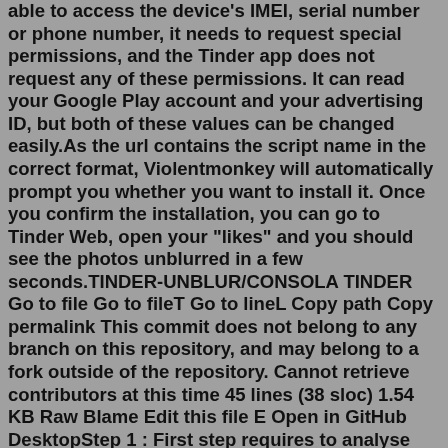able to access the device's IMEI, serial number or phone number, it needs to request special permissions, and the Tinder app does not request any of these permissions. It can read your Google Play account and your advertising ID, but both of these values can be changed easily.As the url contains the script name in the correct format, Violentmonkey will automatically prompt you whether you want to install it. Once you confirm the installation, you can go to Tinder Web, open your "likes" and you should see the photos unblurred in a few seconds.TINDER-UNBLUR/CONSOLA TINDER Go to file Go to fileT Go to lineL Copy path Copy permalink This commit does not belong to any branch on this repository, and may belong to a fork outside of the repository. Cannot retrieve contributors at this time 45 lines (38 sloc) 1.54 KB Raw Blame Edit this file E Open in GitHub DesktopStep 1 : First step requires to analyse the needs and requirements to monitor and then purchase an appropriate software that seems to be genuine.